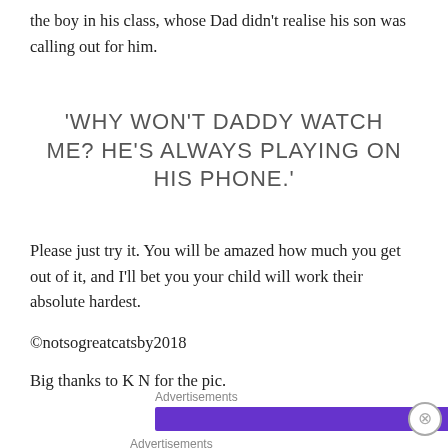the boy in his class, whose Dad didn't realise his son was calling out for him.
'WHY WON'T DADDY WATCH ME? HE'S ALWAYS PLAYING ON HIS PHONE.'
Please just try it. You will be amazed how much you get out of it, and I'll bet you your child will work their absolute hardest.
©notsogreatcatsby2018
Big thanks to K N for the pic.
Advertisements
Advertisements
Professionally designed sites in less than a week